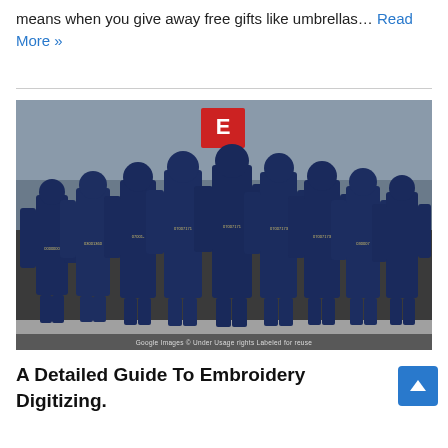means when you give away free gifts like umbrellas… Read More »
[Figure (photo): Group of people in navy blue coveralls/uniforms standing with backs to camera in a hangar or warehouse setting, arms around each other. Each coverall has embroidered text and logo on the back. A red and white sign is visible in the background. Watermark: Google Images © Under Usage rights Labeled for reuse]
A Detailed Guide To Embroidery Digitizing.